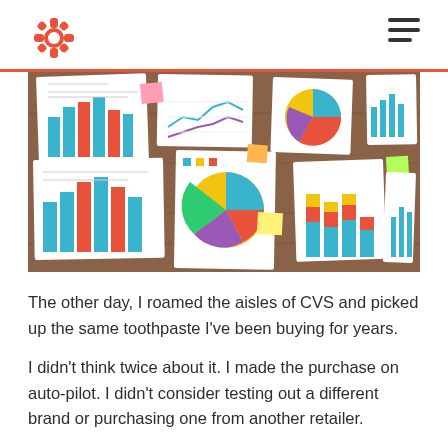HubSpot logo and navigation
[Figure (photo): Overhead view of multiple printed charts and graphs spread on a wooden table, including bar charts, pie charts, and line graphs with colorful sticky notes]
The other day, I roamed the aisles of CVS and picked up the same toothpaste I've been buying for years.
I didn't think twice about it. I made the purchase on auto-pilot. I didn't consider testing out a different brand or purchasing one from another retailer.
Toothpaste, as it turns out, is known as a "convenience good," which consumers usually buy without putting